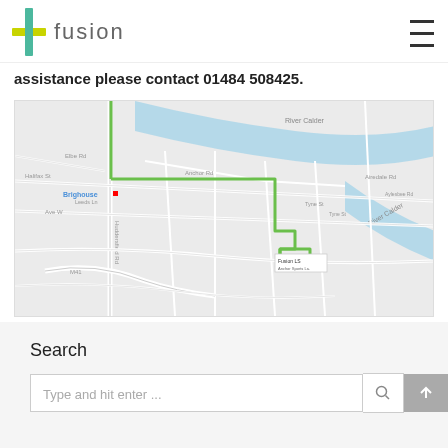fusion
assistance please contact 01484 508425.
[Figure (map): Street map showing route from Brighouse to Fusion LS location, with a green highlighted path through local roads. River Calder visible. Map labels include Brighouse, Huddersfield Rd, River Calder, M41.]
Search
Type and hit enter ...